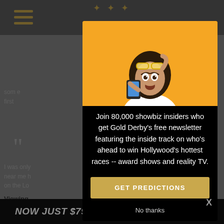[Figure (screenshot): Website page background showing gray header with hamburger menu and gold stars logo, with partially visible article text and a 'NOW JUST $79' banner at the bottom.]
[Figure (photo): Woman with long dark hair on orange/yellow background, looking surprised at her phone, lifting her sunglasses.]
Join 80,000 showbiz insiders who get Gold Derby's free newsletter featuring the inside track on who's ahead to win Hollywood's hottest races -- award shows and reality TV.
GET PREDICTIONS
No thanks